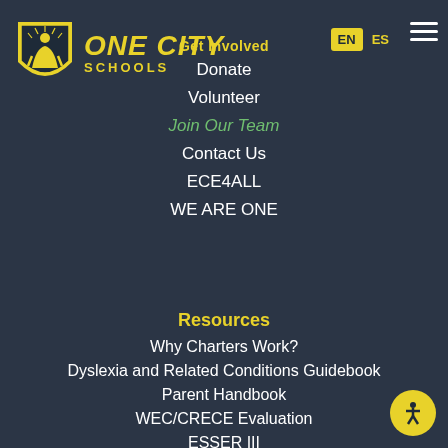[Figure (logo): One City Schools shield logo with yellow stylized figure and sunburst on dark background, with ONE CITY SCHOOLS text in yellow italic bold]
Get Involved
Donate
Volunteer
Join Our Team
Contact Us
ECE4ALL
WE ARE ONE
Resources
Why Charters Work?
Dyslexia and Related Conditions Guidebook
Parent Handbook
WEC/CRECE Evaluation
ESSER III